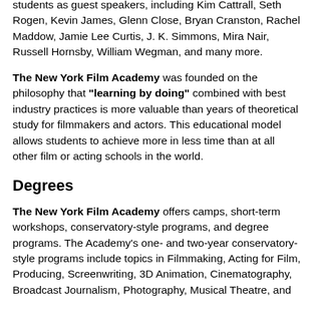students as guest speakers, including Kim Cattrall, Seth Rogen, Kevin James, Glenn Close, Bryan Cranston, Rachel Maddow, Jamie Lee Curtis, J. K. Simmons, Mira Nair, Russell Hornsby, William Wegman, and many more.
The New York Film Academy was founded on the philosophy that "learning by doing" combined with best industry practices is more valuable than years of theoretical study for filmmakers and actors. This educational model allows students to achieve more in less time than at all other film or acting schools in the world.
Degrees
The New York Film Academy offers camps, short-term workshops, conservatory-style programs, and degree programs. The Academy's one- and two-year conservatory-style programs include topics in Filmmaking, Acting for Film, Producing, Screenwriting, 3D Animation, Cinematography, Broadcast Journalism, Photography, Musical Theatre, and Screen Production among many other disciplines.